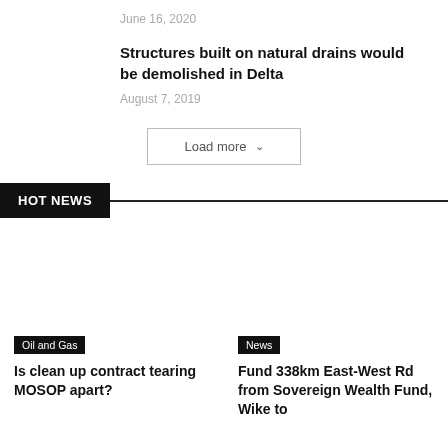June 16, 2020
Structures built on natural drains would be demolished in Delta
August 7, 2019
Load more
HOT NEWS
Oil and Gas
Is clean up contract tearing MOSOP apart?
News
Fund 338km East-West Rd from Sovereign Wealth Fund, Wike to